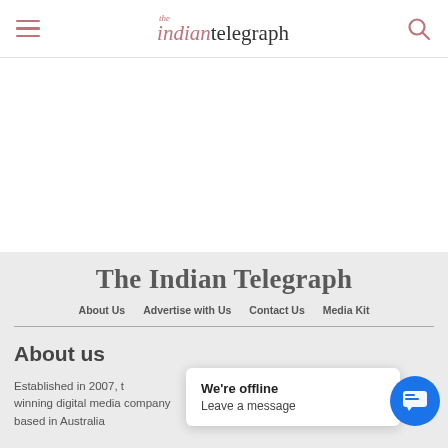the indian telegraph — navigation header with hamburger menu and search icon
The Indian Telegraph
About Us   Advertise with Us   Contact Us   Media Kit
About us
Established in 2007, …ti… winning digital media company based in Australia
We're offline
Leave a message